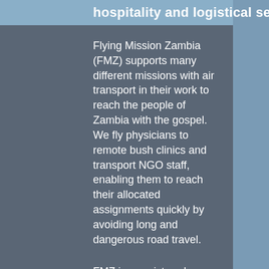hospitality and logistical services
Flying Mission Zambia (FMZ) supports many different missions with air transport in their work to reach the people of Zambia with the gospel.  We fly physicians to remote bush clinics and transport NGO staff, enabling them to reach their allocated assignments quickly by avoiding long and dangerous road travel.
FMZ is a registered charity.  Our aviation operation is licensed commercially with the Zambia Civil Aviation Authority (ZCAA) and we have an experienced team of pilots and engineers.  Out of our base in Makeni Konga close to the capital of Lusaka, we operate small fixed-wing aircraft such as the Cessna 206 and 210.